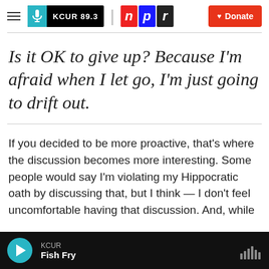KCUR 89.3 | npr | Donate
Is it OK to give up? Because I'm afraid when I let go, I'm just going to drift out.
If you decided to be more proactive, that's where the discussion becomes more interesting. Some people would say I'm violating my Hippocratic oath by discussing that, but I think — I don't feel uncomfortable having that discussion. And, while
KCUR — Fish Fry